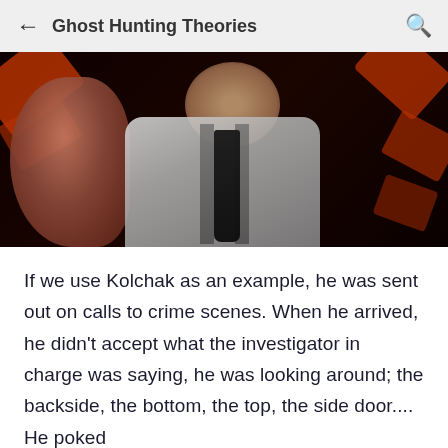Ghost Hunting Theories
[Figure (photo): A man in a white suit with a dark tie, pointing his fist toward the camera against a dark background with orange/red shapes]
If we use Kolchak as an example, he was sent out on calls to crime scenes. When he arrived, he didn't accept what the investigator in charge was saying, he was looking around; the backside, the bottom, the top, the side door.... He poked